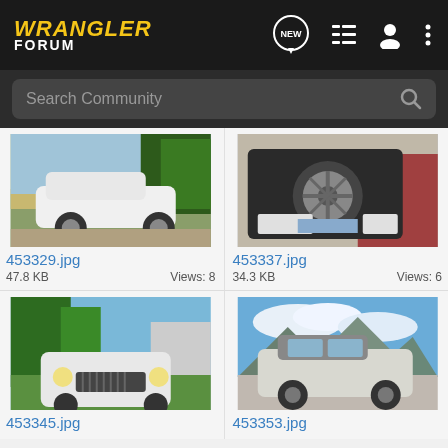[Figure (screenshot): Wrangler Forum mobile app header with logo, NEW chat icon, list icon, user icon, and more (three dots) icon]
[Figure (screenshot): Search Community search bar with magnifying glass icon]
[Figure (photo): White Jeep Wrangler 4-door parked on gravel/grass, trees in background]
453329.jpg
47.8 KB    Views: 8
[Figure (photo): Rear view of black/white Jeep Wrangler with spare tire mounted, garage in background]
453337.jpg
34.3 KB    Views: 6
[Figure (photo): White Jeep Wrangler front view parked on grass near house and trees]
453345.jpg
[Figure (photo): White Jeep Wrangler side view in parking lot with mountains and clouds in background]
453353.jpg